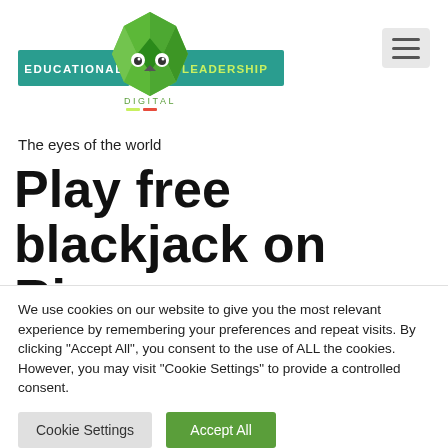[Figure (logo): Educational Leadership Digital logo with geometric owl/bird and green banners]
The eyes of the world
Play free blackjack on Ring
We use cookies on our website to give you the most relevant experience by remembering your preferences and repeat visits. By clicking "Accept All", you consent to the use of ALL the cookies. However, you may visit "Cookie Settings" to provide a controlled consent.